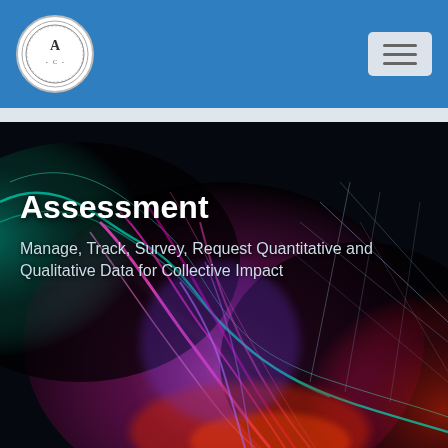Assessment — navigation bar with logo and hamburger menu
[Figure (illustration): Abstract digital art image with glowing neon filaments in teal, pink, magenta, and red on a dark black background, with geometric grid lines suggesting a data visualization or 3D mesh form]
Assessment
Manage, Track, Survey, Request Quantitative and Qualitative Data for Collective Impact